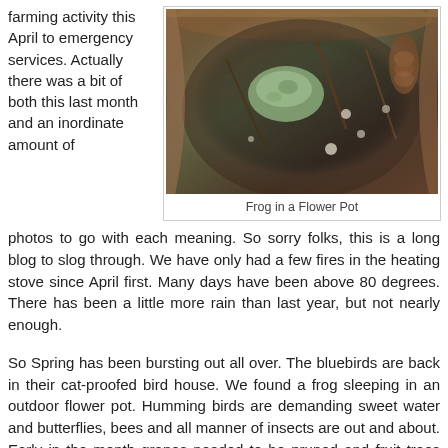farming activity this April to emergency services. Actually there was a bit of both this last month and an inordinate amount of
[Figure (photo): Close-up photo of a frog sleeping in an outdoor flower pot, surrounded by soil, rocks, and plant debris.]
Frog in a Flower Pot
photos to go with each meaning. So sorry folks, this is a long blog to slog through. We have only had a few fires in the heating stove since April first. Many days have been above 80 degrees. There has been a little more rain than last year, but not nearly enough.
So Spring has been bursting out all over. The bluebirds are back in their cat-proofed bird house. We found a frog sleeping in an outdoor flower pot. Humming birds are demanding sweet water and butterflies, bees and all manner of insects are out and about. Early in the month grapes needed to be pruned and fruit trees dowsed with dormant spray as usual. But I decided to strengthen the trellis on all of my grape vines since many have been sagging